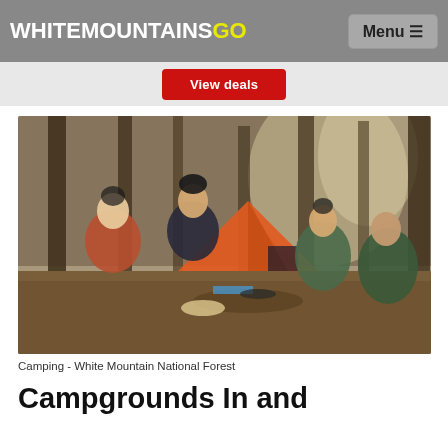WHITEMOUNTAINSGO
[Figure (screenshot): View deals button on a light grey background]
[Figure (photo): Group of four people camping in a forest, sitting around food and a camp stove with an orange tent in the background]
Camping - White Mountain National Forest
Campgrounds In and